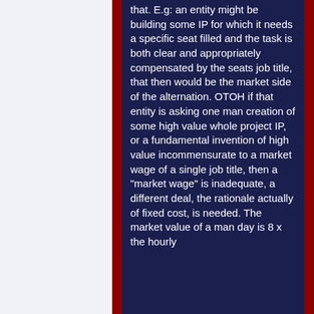that. E.g: an entity might be building some IP for which it needs a specific seat filled and the task is both clear and appropriately compensated by the seats job title, that then would be the market side of the alternation. OTOH if that entity is asking one man creation of some high value whole project IP, or a fundamental invention of high value incommensurate to a market wage of a single job title, then a "market wage" is inadequate, a different deal, the rationale actually of fixed cost, is needed. The market value of a man day is 8 x the hourly